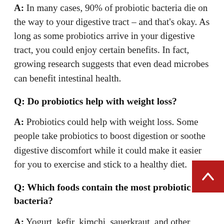A: In many cases, 90% of probiotic bacteria die on the way to your digestive tract – and that's okay. As long as some probiotics arrive in your digestive tract, you could enjoy certain benefits. In fact, growing research suggests that even dead microbes can benefit intestinal health.
Q: Do probiotics help with weight loss?
A: Probiotics could help with weight loss. Some people take probiotics to boost digestion or soothe digestive discomfort while it could make it easier for you to exercise and stick to a healthy diet.
Q: Which foods contain the most probiotic bacteria?
A: Yogurt, kefir, kimchi, sauerkraut, and other fermented foods are rich with probiotic bacter Some types of cheese, fermented sausages, soy-